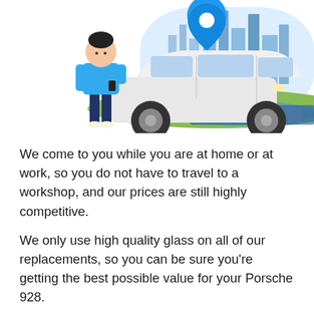[Figure (illustration): Illustration of a person standing next to a white SUV car, with a city skyline background, green road/landscape, and a blue location pin icon above. The person is wearing a blue shirt and dark pants, holding a phone.]
We come to you while you are at home or at work, so you do not have to travel to a workshop, and our prices are still highly competitive.
We only use high quality glass on all of our replacements, so you can be sure you're getting the best possible value for your Porsche 928.
So if you're in need of car glass replacement, don't